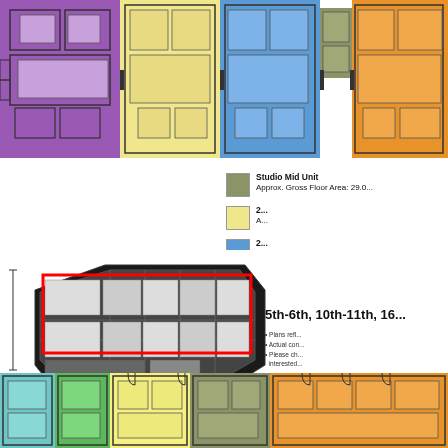[Figure (engineering-diagram): Colored floor plan showing unit layouts for multiple residential units across the top portion of the page. Units shown in purple, yellow, blue, olive/green, and orange colors with black outlines.]
[Figure (map): Site plan / location map showing building footprint with red rectangle highlighting the relevant floor section, with north arrow indicator below.]
Studio Mid Unit
Approx. Gross Floor Area: 29.0...
2...
A...
2...
A...
5th-6th, 10th-11th, 16...
• Plans refl...
• Actual con...
• Please ch...
interested...
[Figure (engineering-diagram): Colored floor plan showing unit layouts for the bottom floor, with units in teal/light blue, green, yellow, olive/khaki, and orange colors with black outlines.]